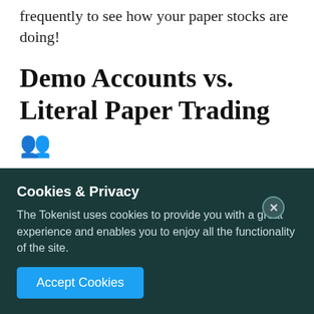frequently to see how your paper stocks are doing!
Demo Accounts vs. Literal Paper Trading 👥
Although you can learn to paper trade with a pen and paper, it doesn't have to be this complicated (or easy to spill coffee on!) and nowadays, most stockbrokers offer demos on their website for people to paper trade digitally on their platform
Cookies & Privacy
The Tokenist uses cookies to provide you with a great experience and enables you to enjoy all the functionality of the site.
Accept Cookies